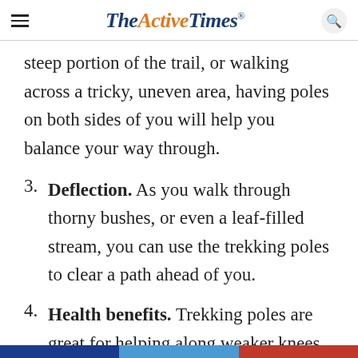TheActiveTimes
steep portion of the trail, or walking across a tricky, uneven area, having poles on both sides of you will help you balance your way through.
3. Deflection. As you walk through thorny bushes, or even a leaf-filled stream, you can use the trekking poles to clear a path ahead of you.
4. Health benefits. Trekking poles are great for helping along weaker knees